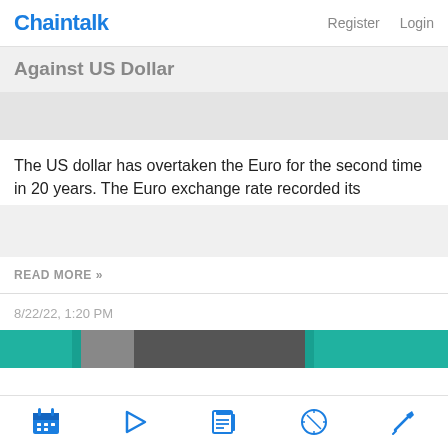Chaintalk | Register | Login
Against US Dollar
The US dollar has overtaken the Euro for the second time in 20 years. The Euro exchange rate recorded its
READ MORE »
8/22/22, 1:20 PM
[Figure (screenshot): Teal and grey image strip partially visible at bottom of second article card]
Bottom navigation bar with icons: calendar, play, newspaper, compass, pickaxe